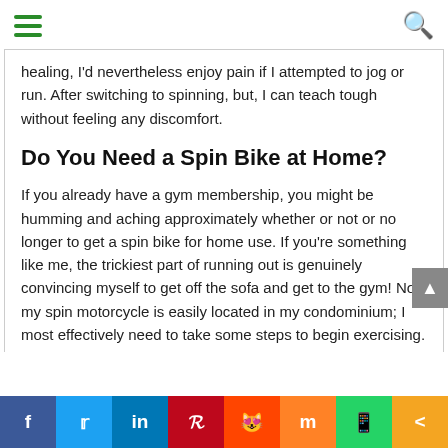Navigation menu and search icon
healing, I'd nevertheless enjoy pain if I attempted to jog or run. After switching to spinning, but, I can teach tough without feeling any discomfort.
Do You Need a Spin Bike at Home?
If you already have a gym membership, you might be humming and aching approximately whether or not or no longer to get a spin bike for home use. If you're something like me, the trickiest part of running out is genuinely convincing myself to get off the sofa and get to the gym! Now my spin motorcycle is easily located in my condominium; I most effectively need to take some steps to begin exercising.
Social share bar: Facebook, Twitter, LinkedIn, Pinterest, Reddit, Mix, WhatsApp, Share